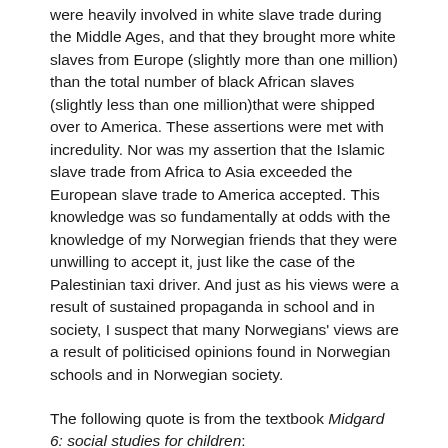were heavily involved in white slave trade during the Middle Ages, and that they brought more white slaves from Europe (slightly more than one million) than the total number of black African slaves (slightly less than one million)that were shipped over to America. These assertions were met with incredulity. Nor was my assertion that the Islamic slave trade from Africa to Asia exceeded the European slave trade to America accepted. This knowledge was so fundamentally at odds with the knowledge of my Norwegian friends that they were unwilling to accept it, just like the case of the Palestinian taxi driver. And just as his views were a result of sustained propaganda in school and in society, I suspect that many Norwegians' views are a result of politicised opinions found in Norwegian schools and in Norwegian society.
The following quote is from the textbook Midgard 6: social studies for children: